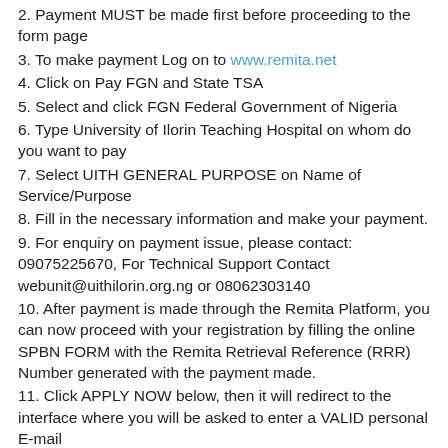2. Payment MUST be made first before proceeding to the form page
3. To make payment Log on to www.remita.net
4. Click on Pay FGN and State TSA
5. Select and click FGN Federal Government of Nigeria
6. Type University of Ilorin Teaching Hospital on whom do you want to pay
7. Select UITH GENERAL PURPOSE on Name of Service/Purpose
8. Fill in the necessary information and make your payment.
9. For enquiry on payment issue, please contact: 09075225670, For Technical Support Contact webunit@uithilorin.org.ng or 08062303140
10. After payment is made through the Remita Platform, you can now proceed with your registration by filling the online SPBN FORM with the Remita Retrieval Reference (RRR) Number generated with the payment made.
11. Click APPLY NOW below, then it will redirect to the interface where you will be asked to enter a VALID personal E-mail